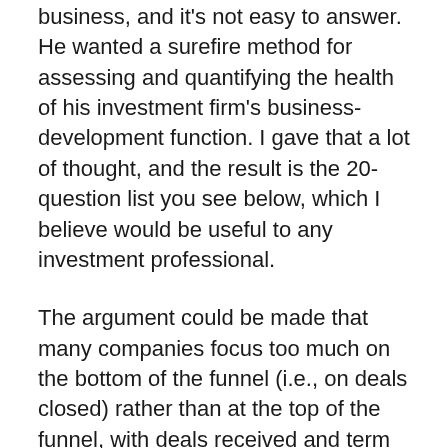business, and it's not easy to answer. He wanted a surefire method for assessing and quantifying the health of his investment firm's business-development function. I gave that a lot of thought, and the result is the 20-question list you see below, which I believe would be useful to any investment professional.
The argument could be made that many companies focus too much on the bottom of the funnel (i.e., on deals closed) rather than at the top of the funnel, with deals received and term sheets issued. At Saratoga Investment Corp., for instance, we close only one or two percent of the deals we consider. It's a very mathematical formula: If we source 1,000 deals, we might issue 80 term sheets and close 20 deals. I would argue, then, that you're better off looking at all the